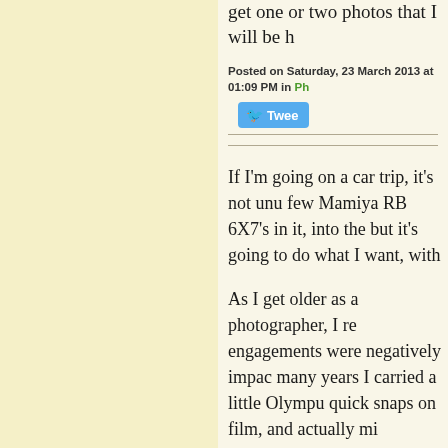get one or two photos that I will be
Posted on Saturday, 23 March 2013 at 01:09 PM in Ph
[Figure (screenshot): Twitter Tweet button, partially visible, blue with bird icon and 'Twee' text]
If I'm going on a car trip, it's not unu few Mamiya RB 6X7's in it, into the but it's going to do what I want, with
As I get older as a photographer, I re engagements were negatively impac many years I carried a little Olympu quick snaps on film, and actually mi
I realized how worthless it was to m aimless walk around with a camera a in the hopes of getting 'something' o hit home when I read a very interesti